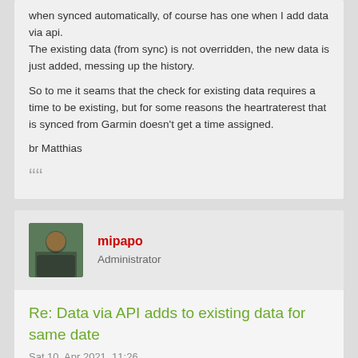when synced automatically, of course has one when I add data via api.
The existing data (from sync) is not overridden, the new data is just added, messing up the history.

So to me it seams that the check for existing data requires a time to be existing, but for some reasons the heartraterest that is synced from Garmin doesn't get a time assigned.

br Matthias
mipapo
Administrator
Re: Data via API adds to existing data for same date
Sat 10. Apr 2021, 11:26